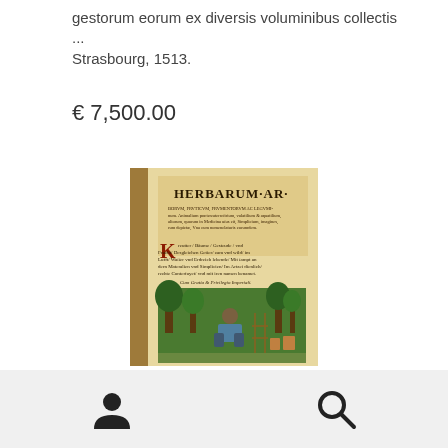gestorum eorum ex diversis voluminibus collectis ... Strasbourg, 1513.
€ 7,500.00
[Figure (photo): Photograph of an open antique book showing the title page of 'Herbarum Arborum Fruticum Frumentorum ac Leguminum' printed in Strasbourg, with decorative woodcut illustration of a gardener among plants and trees.]
User icon and Search icon navigation bar